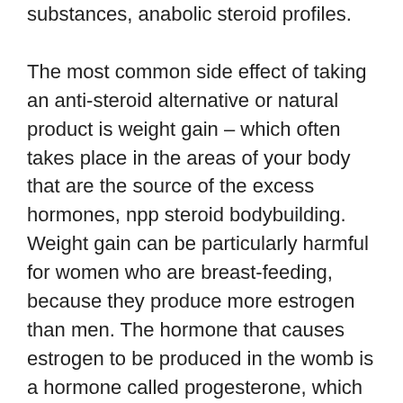substances, anabolic steroid profiles.
The most common side effect of taking an anti-steroid alternative or natural product is weight gain – which often takes place in the areas of your body that are the source of the excess hormones, npp steroid bodybuilding. Weight gain can be particularly harmful for women who are breast-feeding, because they produce more estrogen than men. The hormone that causes estrogen to be produced in the womb is a hormone called progesterone, which is very important during pregnancy or during the growth process. If the hormones are not balanced correctly during a woman's pregnancy, the body is less able to produce hormones that cause pregnancy or growth, npp steroid benefits. When you take hormones, or an anti-androgenic